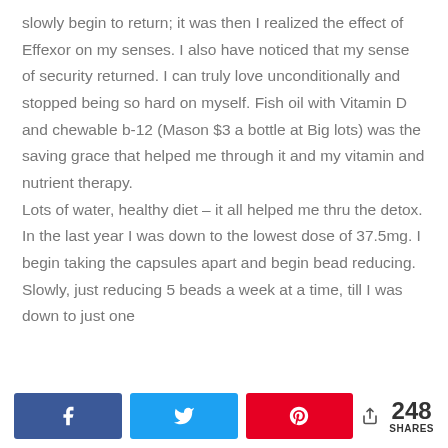slowly begin to return; it was then I realized the effect of Effexor on my senses. I also have noticed that my sense of security returned. I can truly love unconditionally and stopped being so hard on myself. Fish oil with Vitamin D and chewable b-12 (Mason $3 a bottle at Big lots) was the saving grace that helped me through it and my vitamin and nutrient therapy.
Lots of water, healthy diet – it all helped me thru the detox. In the last year I was down to the lowest dose of 37.5mg. I begin taking the capsules apart and begin bead reducing. Slowly, just reducing 5 beads a week at a time, till I was down to just one
[Figure (other): Social share bar with Facebook, Twitter, Pinterest buttons and 248 shares count]